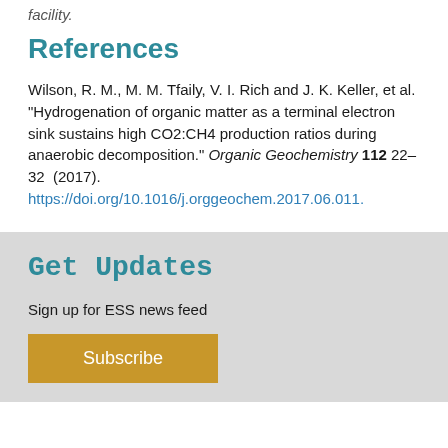facility.
References
Wilson, R. M., M. M. Tfaily, V. I. Rich and J. K. Keller, et al. "Hydrogenation of organic matter as a terminal electron sink sustains high CO2:CH4 production ratios during anaerobic decomposition." Organic Geochemistry 112 22–32 (2017). https://doi.org/10.1016/j.orggeochem.2017.06.011.
Get Updates
Sign up for ESS news feed
Subscribe